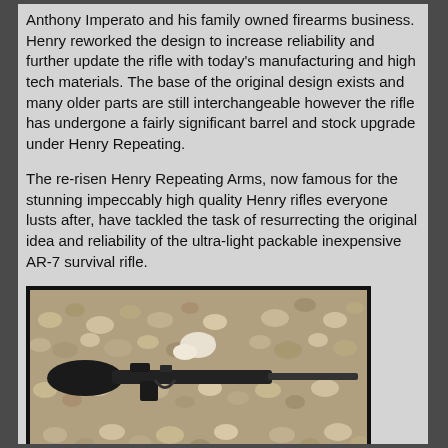Anthony Imperato and his family owned firearms business. Henry reworked the design to increase reliability and further update the rifle with today's manufacturing and high tech materials. The base of the original design exists and many older parts are still interchangeable however the rifle has undergone a fairly significant barrel and stock upgrade under Henry Repeating.
The re-risen Henry Repeating Arms, now famous for the stunning impeccably high quality Henry rifles everyone lusts after, have tackled the task of resurrecting the original idea and reliability of the ultra-light packable inexpensive AR-7 survival rifle.
[Figure (photo): Photo of a black AR-7 survival rifle lying on a bed of gravel/small rocks]